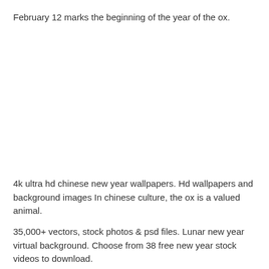February 12 marks the beginning of the year of the ox.
4k ultra hd chinese new year wallpapers. Hd wallpapers and background images In chinese culture, the ox is a valued animal.
35,000+ vectors, stock photos & psd files. Lunar new year virtual background. Choose from 38 free new year stock videos to download.